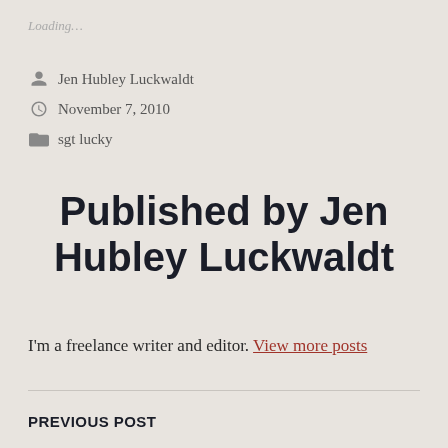Loading…
Jen Hubley Luckwaldt
November 7, 2010
sgt lucky
Published by Jen Hubley Luckwaldt
I'm a freelance writer and editor. View more posts
PREVIOUS POST